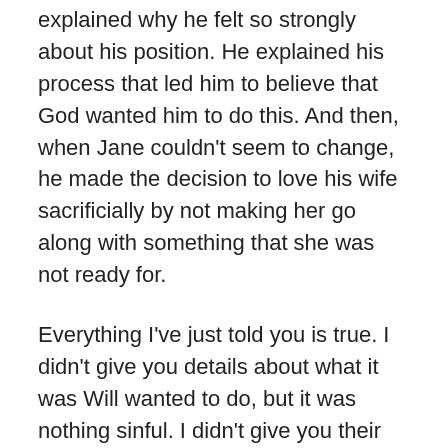explained why he felt so strongly about his position. He explained his process that led him to believe that God wanted him to do this. And then, when Jane couldn't seem to change, he made the decision to love his wife sacrificially by not making her go along with something that she was not ready for.
Everything I've just told you is true. I didn't give you details about what it was Will wanted to do, but it was nothing sinful. I didn't give you their real names. But this really happened. This is a beautiful example of Sacrificial love and Loving Submission in action.
Jane gave us a beautiful picture of Jesus in the garden of Gethsemane. She really didn't want to go the direction Will wanted to go. So she poured out her heart to Will. When she was done, she trusted him with what she had said,